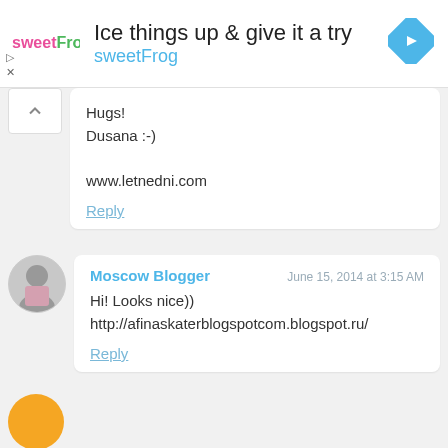[Figure (screenshot): Advertisement banner for sweetFrog with logo, headline text 'Ice things up & give it a try', brand name 'sweetFrog', blue navigation icon on right, and small play/close controls on left]
Hugs!
Dusana :-)

www.letnedni.com
Reply
Moscow Blogger
June 15, 2014 at 3:15 AM
Hi! Looks nice))
http://afinaskaterblogspotcom.blogspot.ru/
Reply